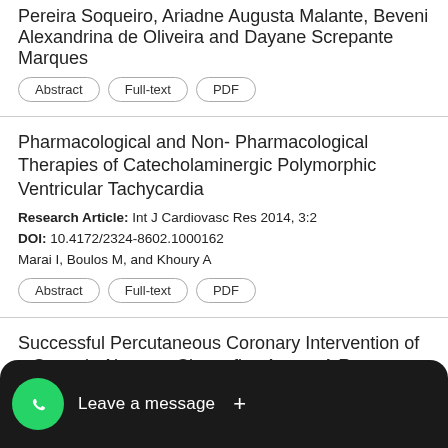Pereira Soqueiro, Ariadne Augusta Malante, Beveni Alexandrina de Oliveira and Dayane Screpante Marques
Abstract | Full-text | PDF
Pharmacological and Non- Pharmacological Therapies of Catecholaminergic Polymorphic Ventricular Tachycardia
Research Article: Int J Cardiovasc Res 2014, 3:2
DOI: 10.4172/2324-8602.1000162
Marai I, Boulos M, and Khoury A
Abstract | Full-text | PDF
Successful Percutaneous Coronary Intervention of a Stenotic Aberrant Circumflex Artery: A Rare Cause of Acute Coronary Syndrome
Research Article: Int J Cardiovasc Res 2015, 4:2
DOI: 10.4172/2324-8602.1000200
...ekin, Salemi Demirelli, Farrah Ermis and Engin Hatem